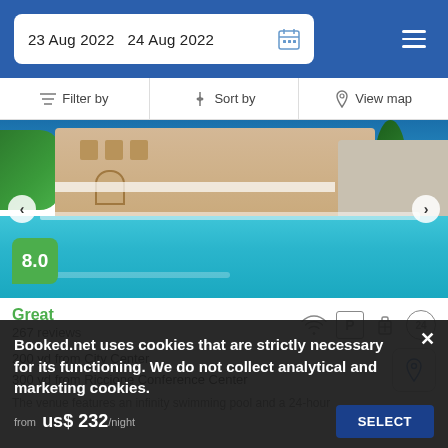23 Aug 2022  24 Aug 2022
Filter by
Sort by
View map
[Figure (photo): Hotel exterior with pool and blue sky]
8.0
Great
267 reviews
200 yd from City Center
300 yd from Riccione Conference Center
The venue features an infinity swimming pool and a 24-hour
Booked.net uses cookies that are strictly necessary for its functioning. We do not collect analytical and marketing cookies.
from  us$ 232/night
SELECT